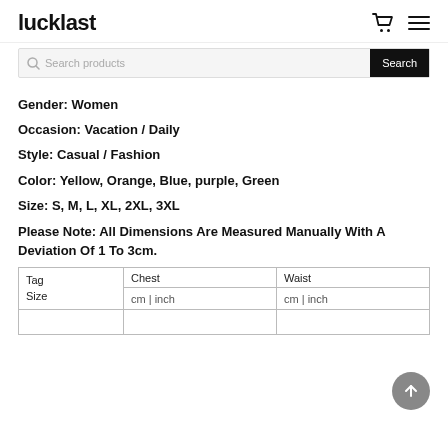lucklast
Search products Search
Gender: Women
Occasion: Vacation / Daily
Style: Casual / Fashion
Color: Yellow, Orange, Blue, purple, Green
Size: S, M, L, XL, 2XL, 3XL
Please Note: All Dimensions Are Measured Manually With A Deviation Of 1 To 3cm.
| Tag Size | Chest cm | inch | Waist cm | inch |
| --- | --- | --- |